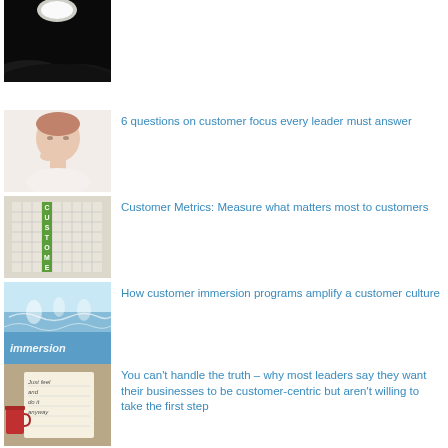[Figure (photo): Dark background with bright overhead light, moon-like image]
[Figure (photo): Woman thinking with hand on chin, white background]
6 questions on customer focus every leader must answer
[Figure (photo): Crossword puzzle tiles with green letters spelling CUSTOMERS]
Customer Metrics: Measure what matters most to customers
[Figure (photo): Water splash image with text 'immersion' on blue/water background]
How customer immersion programs amplify a customer culture
[Figure (photo): Notepad with handwritten text 'Just feel and do it anyway' and a red cup]
You can't handle the truth – why most leaders say they want their businesses to be customer-centric but aren't willing to take the first step